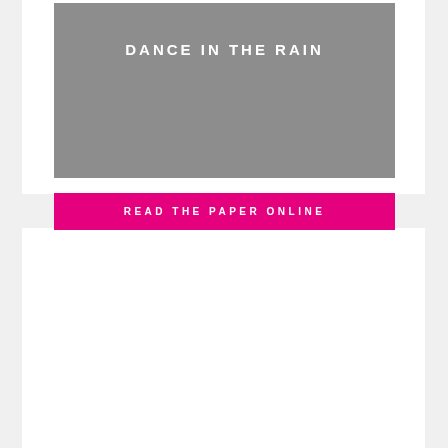[Figure (illustration): Gray rectangular image block with white uppercase text 'DANCE IN THE RAIN' near the top center]
READ THE PAPER ONLINE